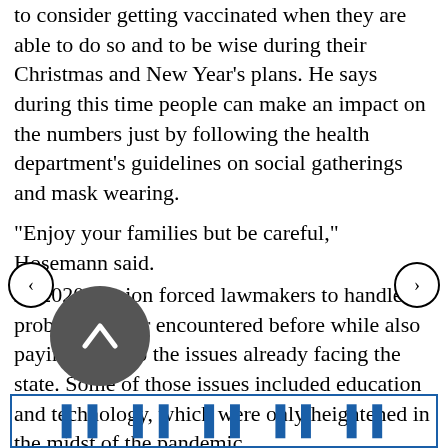to consider getting vaccinated when they are able to do so and to be wise during their Christmas and New Year's plans. He says during this time people can make an impact on the numbers just by following the health department's guidelines on social gatherings and mask wearing.
“Enjoy your families but be careful,” Hosemann said.
he 2020 session forced lawmakers to handle problems never encountered before while also paying mind to the issues already facing the state. Some of those issues included education and technology, which were only heightened in the midst of the pandemic.